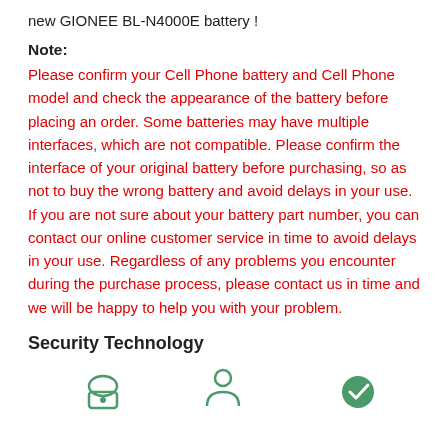new GIONEE BL-N4000E battery !
Note:
Please confirm your Cell Phone battery and Cell Phone model and check the appearance of the battery before placing an order. Some batteries may have multiple interfaces, which are not compatible. Please confirm the interface of your original battery before purchasing, so as not to buy the wrong battery and avoid delays in your use.
If you are not sure about your battery part number, you can contact our online customer service in time to avoid delays in your use. Regardless of any problems you encounter during the purchase process, please contact us in time and we will be happy to help you with your problem.
Security Technology
[Figure (illustration): Three security technology icons at the bottom of the page]